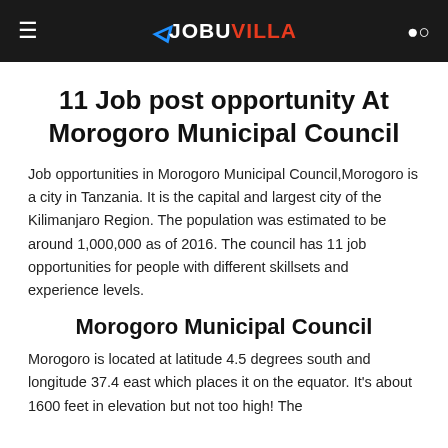JOBUVILLA
11 Job post opportunity At Morogoro Municipal Council
Job opportunities in Morogoro Municipal Council,Morogoro is a city in Tanzania. It is the capital and largest city of the Kilimanjaro Region. The population was estimated to be around 1,000,000 as of 2016. The council has 11 job opportunities for people with different skillsets and experience levels.
Morogoro Municipal Council
Morogoro is located at latitude 4.5 degrees south and longitude 37.4 east which places it on the equator. It's about 1600 feet in elevation but not too high! The